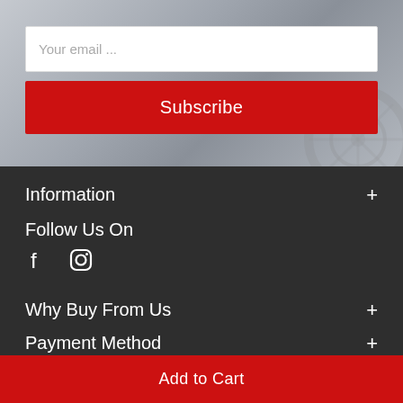Your email ...
Subscribe
Information
Follow Us On
[Figure (illustration): Facebook and Instagram social media icons]
Why Buy From Us
Payment Method
[Figure (illustration): Payment method icons: Mastercard, Visa, PayPal, Zip]
Add to Cart